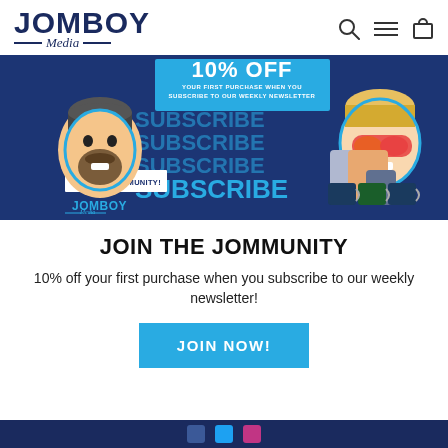[Figure (logo): Jomboy Media logo — bold dark navy uppercase JOMBOY with italic Media below, flanked by horizontal rules]
[Figure (infographic): Dark navy blue promotional banner: '10% OFF YOUR FIRST PURCHASE WHEN YOU SUBSCRIBE TO OUR WEEKLY NEWSLETTER' with SUBSCRIBE repeated in large cyan text, cartoon character illustrations on left and right, Jomboy merch items (shirts, mugs), and a white badge saying JOIN THE JOMMUNITY!]
JOIN THE JOMMUNITY
10% off your first purchase when you subscribe to our weekly newsletter!
JOIN NOW!